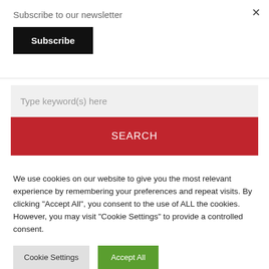×
Subscribe to our newsletter
Subscribe
Type keyword(s) here
SEARCH
We use cookies on our website to give you the most relevant experience by remembering your preferences and repeat visits. By clicking "Accept All", you consent to the use of ALL the cookies. However, you may visit "Cookie Settings" to provide a controlled consent.
Cookie Settings
Accept All